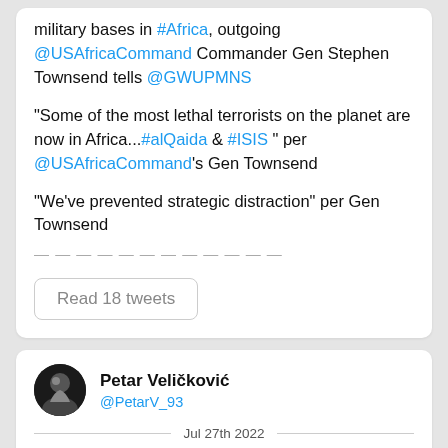military bases in #Africa, outgoing @USAfricaCommand Commander Gen Stephen Townsend tells @GWUPMNS
"Some of the most lethal terrorists on the planet are now in Africa...#alQaida & #ISIS " per @USAfricaCommand's Gen Townsend
"We've prevented strategic distraction" per Gen Townsend
Read 18 tweets
Petar Veličković @PetarV_93 Jul 27th 2022
🧵 New & improved material to dive into geometric deep learning! 🙌 We (@mmbronstein @joanbruna @TacoCohen) delivered our Master's course on GDL @AIMS_Next once